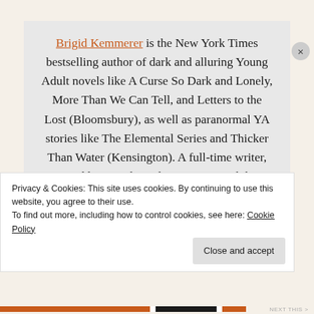Brigid Kemmerer is the New York Times bestselling author of dark and alluring Young Adult novels like A Curse So Dark and Lonely, More Than We Can Tell, and Letters to the Lost (Bloomsbury), as well as paranormal YA stories like The Elemental Series and Thicker Than Water (Kensington). A full-time writer, Brigid lives in the Baltimore area with her
Privacy & Cookies: This site uses cookies. By continuing to use this website, you agree to their use.
To find out more, including how to control cookies, see here: Cookie Policy
Close and accept